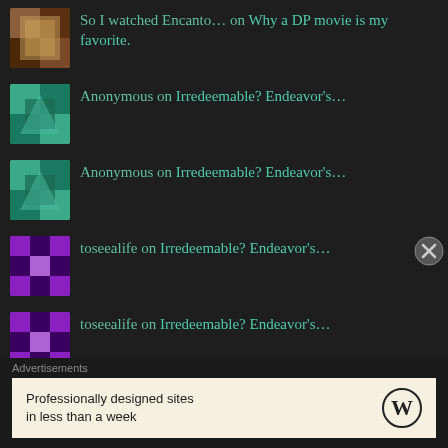So I watched Encanto… on Why a DP movie is my favorite.
Anonymous on Irredeemable? Endeavor's…
Anonymous on Irredeemable? Endeavor's…
toseealife on Irredeemable? Endeavor's…
toseealife on Irredeemable? Endeavor's…
A gamble–analy… on When you know you'll hur…
Anonymous on Irredeemable? Endeavor's…
Advertisements
Professionally designed sites in less than a week